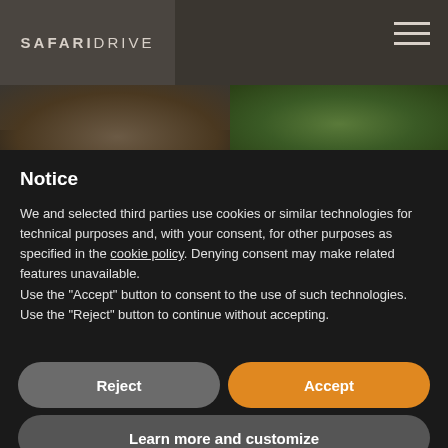[Figure (logo): SafariDrive logo — bold SAFARI followed by regular weight DRIVE, white/cream text on dark taupe background]
[Figure (photo): Wildlife photo strip showing elephant and green vegetation background]
Notice
We and selected third parties use cookies or similar technologies for technical purposes and, with your consent, for other purposes as specified in the cookie policy. Denying consent may make related features unavailable.
Use the "Accept" button to consent to the use of such technologies. Use the "Reject" button to continue without accepting.
Reject
Accept
Learn more and customize